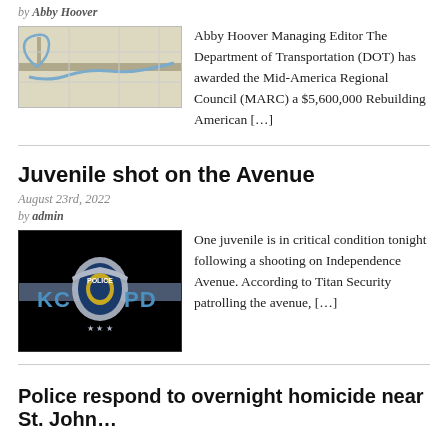by Abby Hoover
[Figure (map): A road/transit map showing a route]
Abby Hoover Managing Editor The Department of Transportation (DOT) has awarded the Mid-America Regional Council (MARC) a $5,600,000 Rebuilding American […]
Juvenile shot on the Avenue
August 23rd, 2022
by admin
[Figure (logo): KCPD (Kansas City Police Department) badge logo on black background]
One juvenile is in critical condition tonight following a shooting on Independence Avenue. According to Titan Security patrolling the avenue, […]
Police respond to overnight homicide near St. John…